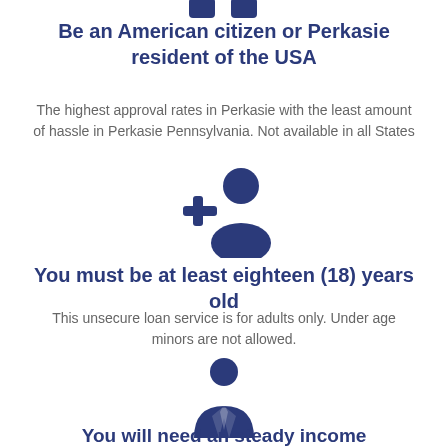[Figure (illustration): Two blue person/user icons at the top of the page]
Be an American citizen or Perkasie resident of the USA
The highest approval rates in Perkasie with the least amount of hassle in Perkasie Pennsylvania. Not available in all States
[Figure (illustration): Add person icon — a plus sign next to a person silhouette in dark blue]
You must be at least eighteen (18) years old
This unsecure loan service is for adults only. Under age minors are not allowed.
[Figure (illustration): Business person icon — person in suit with tie in dark blue]
You will need an steady income